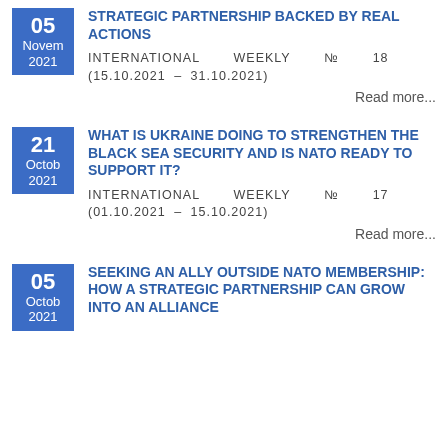STRATEGIC PARTNERSHIP BACKED BY REAL ACTIONS
INTERNATIONAL WEEKLY №  18 (15.10.2021 – 31.10.2021)
Read more...
WHAT IS UKRAINE DOING TO STRENGTHEN THE BLACK SEA SECURITY AND IS NATO READY TO SUPPORT IT?
INTERNATIONAL WEEKLY №  17 (01.10.2021 – 15.10.2021)
Read more...
SEEKING AN ALLY OUTSIDE NATO MEMBERSHIP: HOW A STRATEGIC PARTNERSHIP CAN GROW INTO AN ALLIANCE